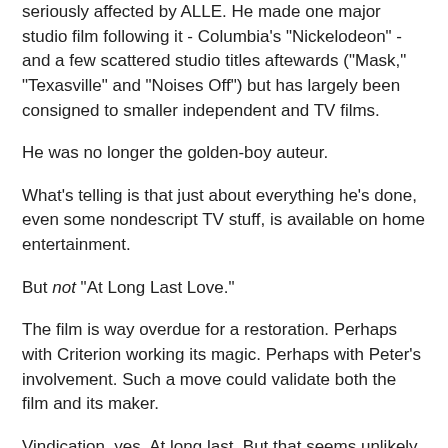seriously affected by ALLE. He made one major studio film following it - Columbia's "Nickelodeon" - and a few scattered studio titles aftewards ("Mask," "Texasville" and "Noises Off") but has largely been consigned to smaller independent and TV films.
He was no longer the golden-boy auteur.
What's telling is that just about everything he's done, even some nondescript TV stuff, is available on home entertainment.
But not "At Long Last Love."
The film is way overdue for a restoration. Perhaps with Criterion working its magic. Perhaps with Peter's involvement. Such a move could validate both the film and its maker.
Vindication, yes. At long last. But that seems unlikely.
And "At Long Last Love" is fated to remain an orphaned,